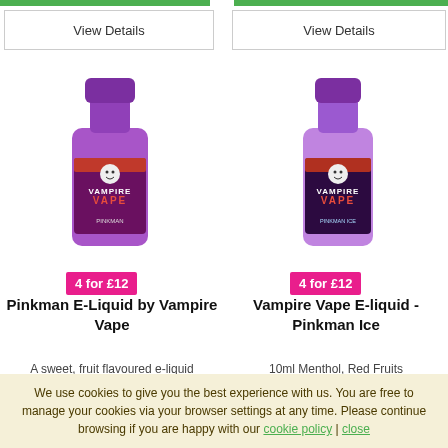View Details
View Details
[Figure (photo): Purple bottle of Pinkman E-Liquid by Vampire Vape with Vampire Vape logo label]
[Figure (photo): Purple bottle of Vampire Vape E-liquid Pinkman Ice with Vampire Vape logo label]
4 for £12
4 for £12
Pinkman E-Liquid by Vampire Vape
Vampire Vape E-liquid - Pinkman Ice
A sweet, fruit flavoured e-liquid
10ml Menthol, Red Fruits
We use cookies to give you the best experience with us. You are free to manage your cookies via your browser settings at any time. Please continue browsing if you are happy with our cookie policy | close